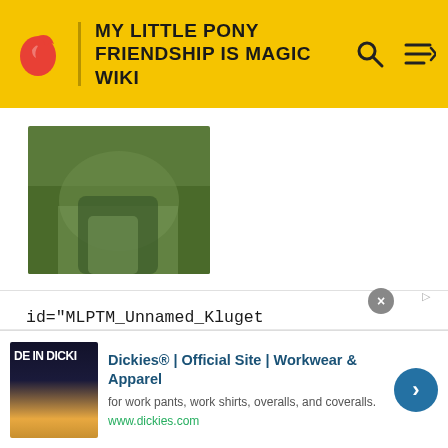MY LITTLE PONY FRIENDSHIP IS MAGIC WIKI
[Figure (illustration): Screenshot of a pony character, appears to be a green-colored background pony]
id="MLPTM_Unnamed_Klugetowner_14"|MLPTM Unnamed Klugetowner #14||||||style="background-color:hsl(189, 4%, 35%);" class="colorcell"|hsl(189, 4%, 35%)¤||style="background-color:hsl(162, 19%, 17%);" class="colorcell"|hsl(162, 19%, 17%)¤||style="background-color:hsl(189, 17%, 35%);"
[Figure (advertisement): Dickies® | Official Site | Workwear & Apparel advertisement. Text: for work pants, work shirts, overalls, and coveralls. www.dickies.com]